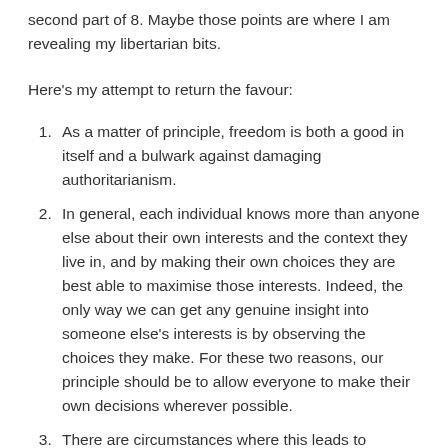second part of 8. Maybe those points are where I am revealing my libertarian bits.
Here's my attempt to return the favour:
As a matter of principle, freedom is both a good in itself and a bulwark against damaging authoritarianism.
In general, each individual knows more than anyone else about their own interests and the context they live in, and by making their own choices they are best able to maximise those interests. Indeed, the only way we can get any genuine insight into someone else's interests is by observing the choices they make. For these two reasons, our principle should be to allow everyone to make their own decisions wherever possible.
There are circumstances where this leads to problems - externalities, collective action problems or asymmetric information. If we choose to correct these, we should